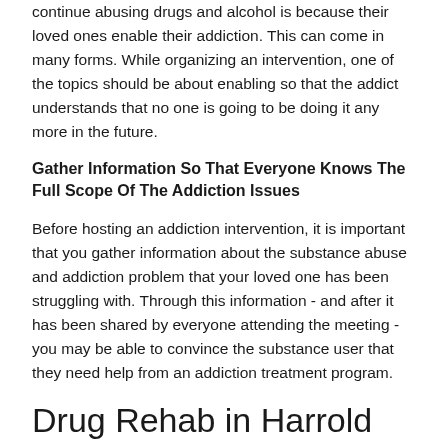continue abusing drugs and alcohol is because their loved ones enable their addiction. This can come in many forms. While organizing an intervention, one of the topics should be about enabling so that the addict understands that no one is going to be doing it any more in the future.
Gather Information So That Everyone Knows The Full Scope Of The Addiction Issues
Before hosting an addiction intervention, it is important that you gather information about the substance abuse and addiction problem that your loved one has been struggling with. Through this information - and after it has been shared by everyone attending the meeting - you may be able to convince the substance user that they need help from an addiction treatment program.
Drug Rehab in Harrold
Addiction treatment, also known as alcohol and drug